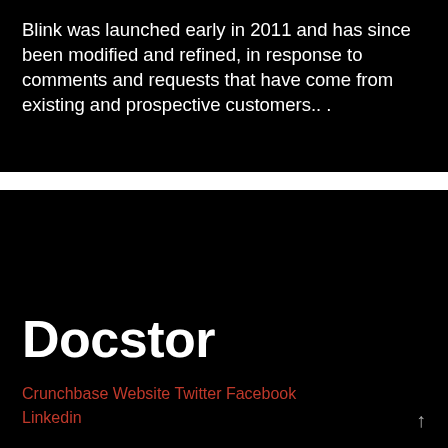Blink was launched early in 2011 and has since been modified and refined, in response to comments and requests that have come from existing and prospective customers... .
Docstor
Crunchbase Website Twitter Facebook Linkedin